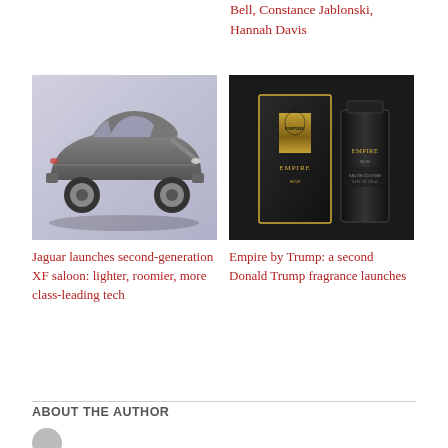Bell, Constance Jablonski, Hannah Davis
[Figure (photo): Gray Jaguar XF saloon car on a light background]
[Figure (photo): Empire by Trump fragrance bottles — black boxes with gold crest detail]
Jaguar launches second-generation XF saloon: lighter, roomier, more class-leading tech
Empire by Trump: a second Donald Trump fragrance launches
ABOUT THE AUTHOR